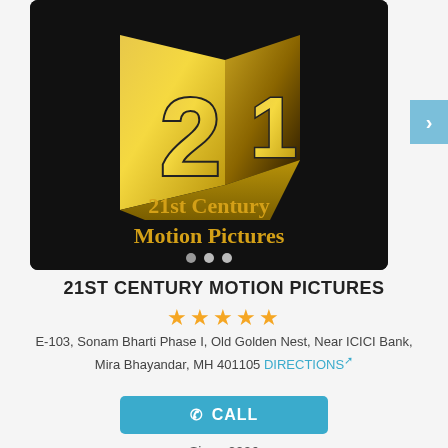[Figure (logo): 21st Century Motion Pictures logo: black background with a gold book/film reel shape showing the number '21' in gold, with text '21st Century Motion Pictures' in gold below the emblem]
21ST CENTURY MOTION PICTURES
★★★★★
E-103, Sonam Bharti Phase I, Old Golden Nest, Near ICICI Bank, Mira Bhayandar, MH 401105 DIRECTIONS
CALL
Since 2006